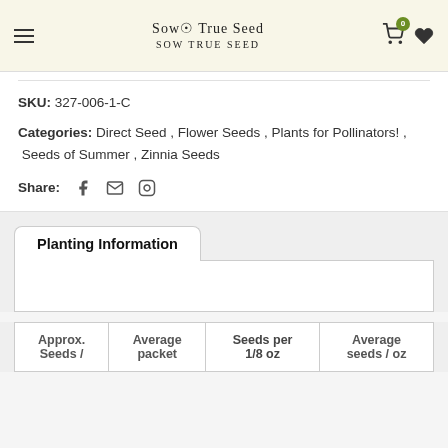Sow True Seed
SKU: 327-006-1-C
Categories: Direct Seed, Flower Seeds, Plants for Pollinators!, Seeds of Summer, Zinnia Seeds
Share:
Planting Information
| Approx. Seeds / | Average packet | Seeds per 1/8 oz | Average seeds / oz |
| --- | --- | --- | --- |